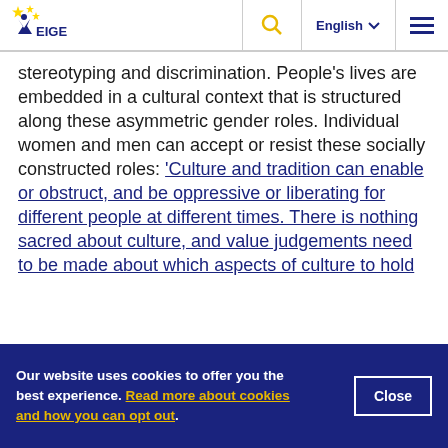EIGE — European Institute for Gender Equality
stereotyping and discrimination. People's lives are embedded in a cultural context that is structured along these asymmetric gender roles. Individual women and men can accept or resist these socially constructed roles: ‘Culture and tradition can enable or obstruct, and be oppressive or liberating for different people at different times. There is nothing sacred about culture, and value judgements need to be made about which aspects of culture to hold
Our website uses cookies to offer you the best experience. Read more about cookies and how you can opt out.